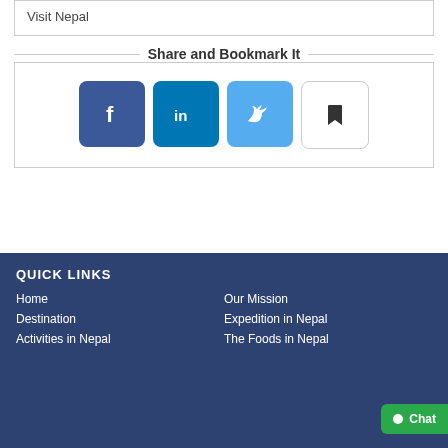Visit Nepal
Share and Bookmark It
[Figure (infographic): Social sharing buttons: Facebook (dark blue), LinkedIn (blue), Twitter (light blue), Bookmark (white/gray)]
QUICK LINKS
Home
Our Mission
Destination
Expedition in Nepal
Activities in Nepal
The Foods in Nepal
Chat